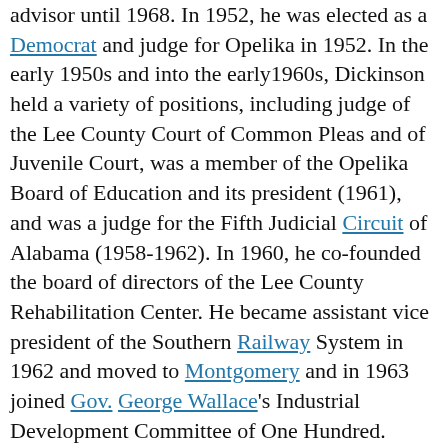advisor until 1968. In 1952, he was elected as a Democrat and judge for Opelika in 1952. In the early 1950s and into the early1960s, Dickinson held a variety of positions, including judge of the Lee County Court of Common Pleas and of Juvenile Court, was a member of the Opelika Board of Education and its president (1961), and was a judge for the Fifth Judicial Circuit of Alabama (1958-1962). In 1960, he co-founded the board of directors of the Lee County Rehabilitation Center. He became assistant vice president of the Southern Railway System in 1962 and moved to Montgomery and in 1963 joined Gov. George Wallace's Industrial Development Committee of One Hundred.
A conservative Democrat, Dickinson switched parties and ran for Congress in 1964 as a Republican in Alabama's Second District, which included Montgomery and most of the southeastern portion of the state. He defeated 14-term Democratic incumbent George McInvale Grant by a 25-point margin in the aftermath of Pres. Lyndon B. Johnson's signing of the Civil Rights Act of 1964. Dickinson won reelection by a nine-point margin in 1966 and was returned to Congress 14 times without serious opposition, serving 14 terms. Dickin...